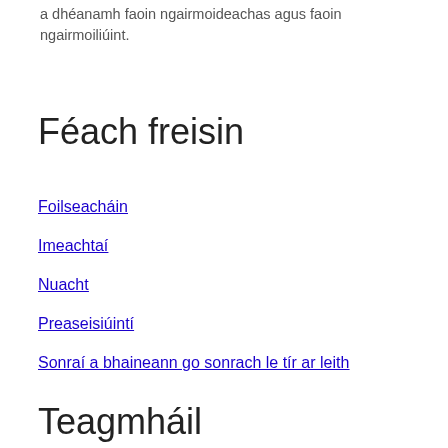a dhéanamh faoin ngairmoideachas agus faoin ngairmoiliúint.
Féach freisin
Foilseacháin
Imeachtaí
Nuacht
Preaseisiúintí
Sonraí a bhaineann go sonrach le tír ar leith
Teagmháil